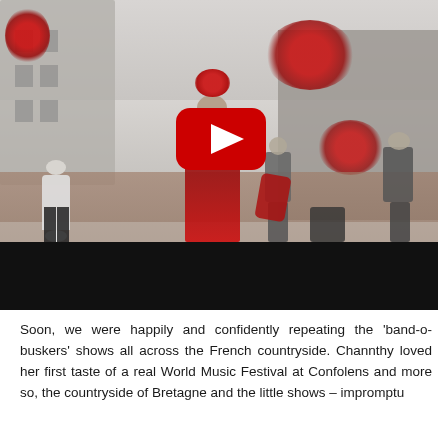[Figure (photo): YouTube video thumbnail showing a band performing outdoors in front of a French stone building. The image is in desaturated tones with red color accents (flowers, red dress on female singer). A large red YouTube play button is centered on the image. A black control bar appears at the bottom of the video player.]
Soon, we were happily and confidently repeating the 'band-o-buskers' shows all across the French countryside. Channthy loved her first taste of a real World Music Festival at Confolens and more so, the countryside of Bretagne and the little shows – impromptu